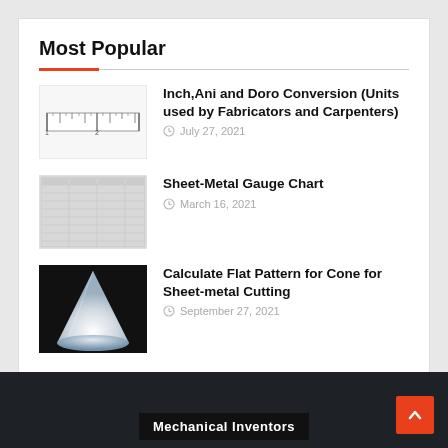Most Popular
[Figure (illustration): A ruler thumbnail image showing measurement markings with numbers 1 and 2]
Inch,Ani and Doro Conversion (Units used by Fabricators and Carpenters)
July 27, 2021
[Figure (table-as-image): Sheet-metal gauge chart showing a table of gauge values]
Sheet-Metal Gauge Chart
March 16, 2021
[Figure (photo): White cone shape on dark background for sheet-metal cone flat pattern]
Calculate Flat Pattern for Cone for Sheet-metal Cutting
September 27, 2021
Mechanical Inventors